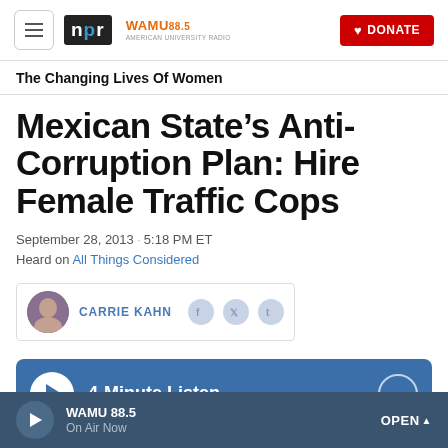NPR / WAMU 88.5 — navigation header with Donate button
The Changing Lives Of Women
Mexican State's Anti-Corruption Plan: Hire Female Traffic Cops
September 28, 2013 · 5:18 PM ET
Heard on All Things Considered
CARRIE KAHN
4-Minute Listen
WAMU 88.5 On Air Now OPEN